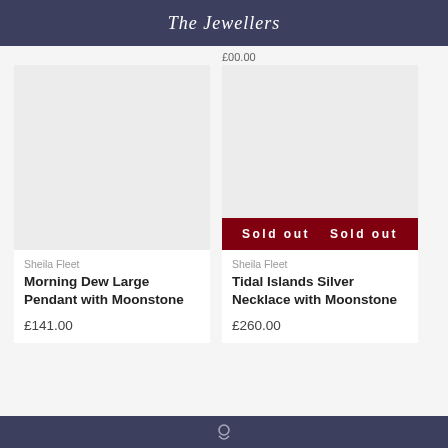The Jewellers
£00.00
[Figure (photo): Product image placeholder for Morning Dew Large Pendant with Moonstone]
Sheila Fleet
Morning Dew Large Pendant with Moonstone
£141.00
[Figure (photo): Product image placeholder for Tidal Islands Silver Necklace with Moonstone with Sold out badge]
Sheila Fleet
Tidal Islands Silver Necklace with Moonstone
£260.00